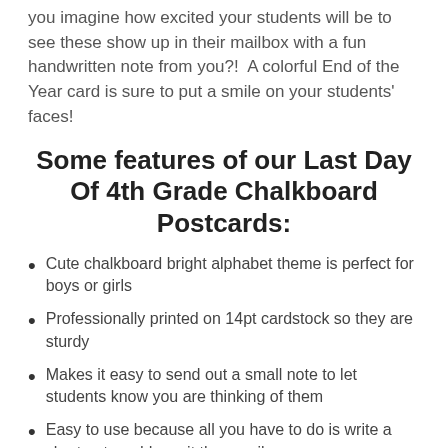you imagine how excited your students will be to see these show up in their mailbox with a fun handwritten note from you?!  A colorful End of the Year card is sure to put a smile on your students' faces!
Some features of our Last Day Of 4th Grade Chalkboard Postcards:
Cute chalkboard bright alphabet theme is perfect for boys or girls
Professionally printed on 14pt cardstock so they are sturdy
Makes it easy to send out a small note to let students know you are thinking of them
Easy to use because all you have to do is write a short note, address it then mail